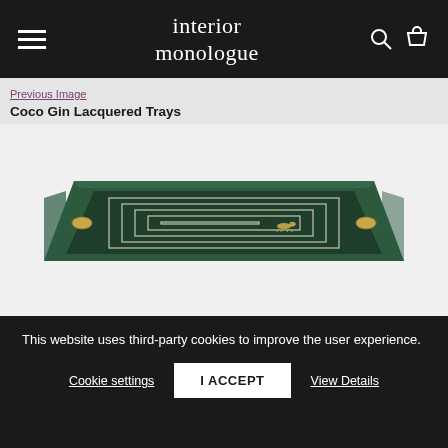interior monologue
Previous Image
Coco Gin Lacquered Trays
[Figure (photo): A dark green lacquered rectangular tray with gold handles on each side and a decorative labyrinthine white line pattern on its surface, with a small animal (fox/dog) motif in the lower right corner of the pattern.]
This website uses third-party cookies to improve the user experience.
Cookie settings   I ACCEPT   View Details